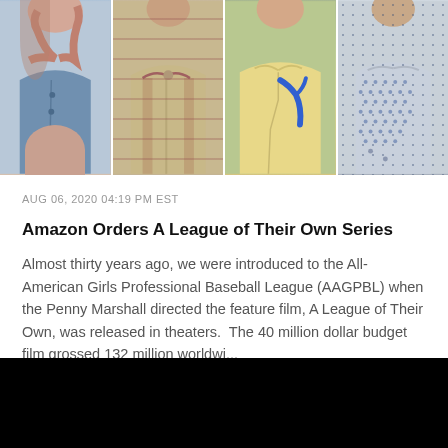[Figure (photo): Four-panel photo strip showing close-up shots of people wearing different sports/casual shirts: a blue button-up shirt, a gray baseball jersey with red trim, a yellow/cream polo shirt with a blue Nike swoosh, and a blue dotted/patterned shirt.]
AUG 06, 2020 04:19 PM EST
Amazon Orders A League of Their Own Series
Almost thirty years ago, we were introduced to the All-American Girls Professional Baseball League (AAGPBL) when the Penny Marshall directed the feature film, A League of Their Own, was released in theaters.  The 40 million dollar budget film grossed 132 million worldwi...
[Figure (photo): Black video thumbnail/player block at the bottom of the page.]